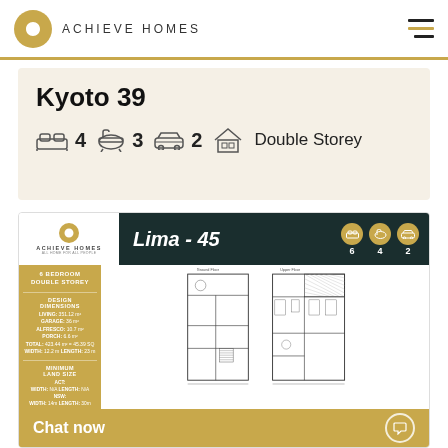ACHIEVE HOMES
Kyoto 39
4 bedrooms, 3 bathrooms, 2 garage, Double Storey
[Figure (schematic): Achieve Homes Lima-45 floor plan with 6 bedrooms, 4 bathrooms, 2 garage. Shows ground floor and upper floor architectural drawings with sidebar showing design dimensions.]
Lima - 45 | 6 | 4 | 2
6 BEDROOM DOUBLE STOREY
DESIGN DIMENSIONS: LIVING: 351.12 m2, GARAGE: 36 m2, ALFRESCO: 10.7 m2, PORCH: 6.6 m2, TOTAL: 423.44 m2 = 45.39 SQ, WIDTH: 12.2 m, LENGTH: 23 m
MINIMUM LAND SIZE: ACT: WIDTH: N/A, LENGTH: N/A — NSW: WIDTH: 14m, LENGTH: 30m — VIC: WIDTH: 14m, LENGTH: 30m
VIEW THIS DESIGN ONLINE
Chat now